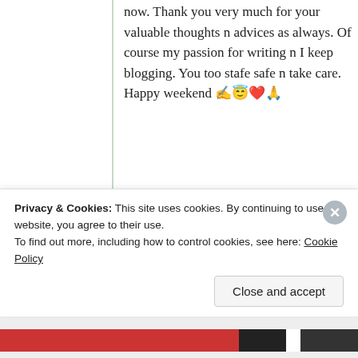now. Thank you very much for your valuable thoughts n advices as always. Of course my passion for writing n I keep blogging. You too stafe safe n take care. Happy weekend ✍️😇❤️🙏
★ Like
Log in to Reply
Privacy & Cookies: This site uses cookies. By continuing to use this website, you agree to their use. To find out more, including how to control cookies, see here: Cookie Policy
Close and accept